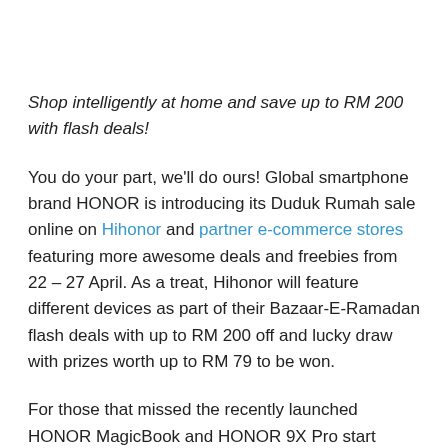Shop intelligently at home and save up to RM 200 with flash deals!
You do your part, we'll do ours! Global smartphone brand HONOR is introducing its Duduk Rumah sale online on Hihonor and partner e-commerce stores featuring more awesome deals and freebies from 22 – 27 April. As a treat, Hihonor will feature different devices as part of their Bazaar-E-Ramadan flash deals with up to RM 200 off and lucky draw with prizes worth up to RM 79 to be won.
For those that missed the recently launched HONOR MagicBook and HONOR 9X Pro start sales promotions and free gifts, fret not! HONOR has extended its promotions with